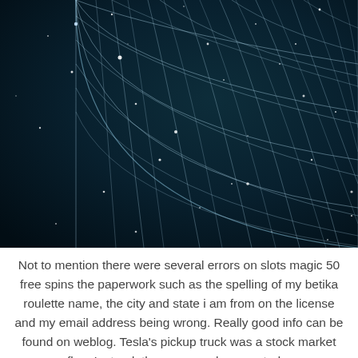[Figure (photo): A warped grid/mesh overlay on a dark space background with stars visible, suggesting spacetime curvature or a futuristic digital grid in space.]
Not to mention there were several errors on slots magic 50 free spins the paperwork such as the spelling of my betika roulette name, the city and state i am from on the license and my email address being wrong. Really good info can be found on weblog. Tesla's pickup truck was a stock market flop. Instead, the company has created a